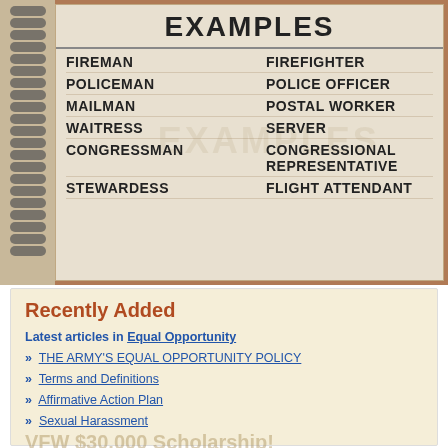[Figure (illustration): A notebook/spiral binder graphic showing gender-neutral language examples. Title says EXAMPLES. Left column (old terms): FIREMAN, POLICEMAN, MAILMAN, WAITRESS, CONGRESSMAN, STEWARDESS. Right column (new terms): FIREFIGHTER, POLICE OFFICER, POSTAL WORKER, SERVER, CONGRESSIONAL REPRESENTATIVE, FLIGHT ATTENDANT.]
Recently Added
Latest articles in Equal Opportunity
» THE ARMY'S EQUAL OPPORTUNITY POLICY
» Terms and Definitions
» Affirmative Action Plan
» Sexual Harassment
VFW $30,000 Scholarship!
» Socialization